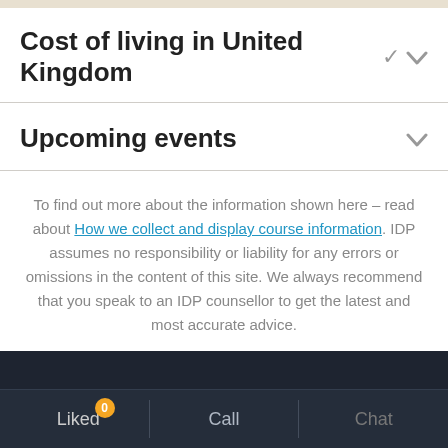Cost of living in United Kingdom
Upcoming events
To find out more about the information shown here – read about How we collect and display course information. IDP assumes no responsibility or liability for any errors or omissions in the content of this site. We always recommend that you speak to an IDP counsellor to get the latest and most accurate advice.
Liked 0  Call  Chat